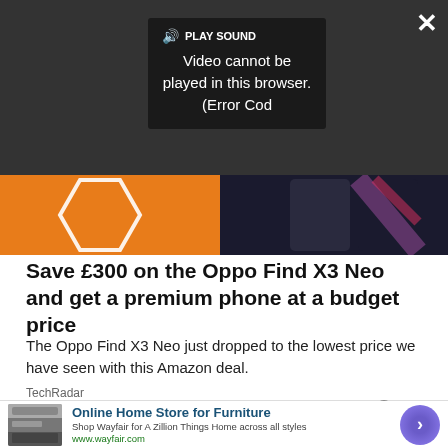[Figure (screenshot): Video player overlay on dark background showing error message: 'Video cannot be played in this browser. (Error Cod' with PLAY SOUND button and speaker icon. Close (X) and expand buttons visible. Below is an orange/dark gradient image area showing smartphone devices.]
Save £300 on the Oppo Find X3 Neo and get a premium phone at a budget price
The Oppo Find X3 Neo just dropped to the lowest price we have seen with this Amazon deal.
TechRadar
[Figure (screenshot): Advertisement for Wayfair - Online Home Store for Furniture. Shows furniture image on left, text 'Online Home Store for Furniture', 'Shop Wayfair for A Zillion Things Home across all styles', 'www.wayfair.com', and a purple circular arrow button on the right.]